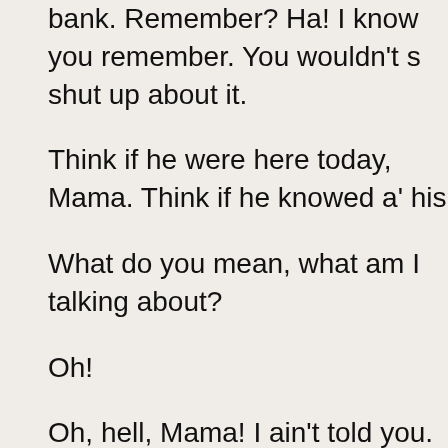bank. Remember? Ha! I know you remember. You wouldn't shut up about it.
Think if he were here today, Mama. Think if he knowed a' his
What do you mean, what am I talking about?
Oh!
Oh, hell, Mama! I ain't told you.
We done it, Mama.
The Juan Rojas Gang done robbed the Susanville bank!
We took it this mornin'. The Andrews brothers blew the vault
The gang made off with ten-thousand dollars. Clay said I don hay-headed dummy son's earned today, Mama. The hell hav